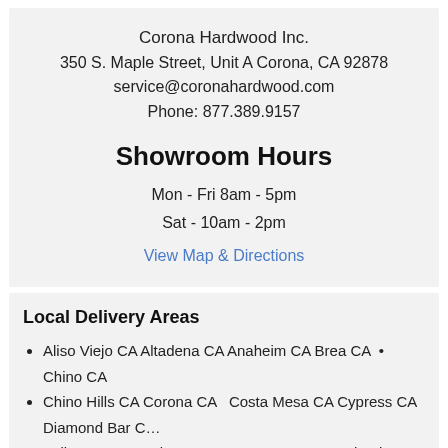Corona Hardwood Inc.
350 S. Maple Street, Unit A  Corona, CA 92878
service@coronahardwood.com
Phone: 877.389.9157
Showroom Hours
Mon - Fri 8am - 5pm
Sat - 10am - 2pm
View Map & Directions
Local Delivery Areas
Aliso Viejo CA  Altadena CA  Anaheim CA  Brea CA  •  Chino CA
Chino Hills CA  Corona CA  Costa Mesa CA  Cypress CA  Diamond Bar C…
Fullerton CA  Garden Grove  Hemet CA  Homeland CA  Huntington Bea…
Irvine CA  •  La Habra CA  La Palma CA  Laguna Beach CA  Los Hills C…